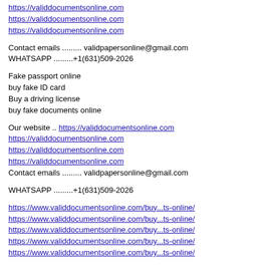https://validdocumentsonline.com
https://validdocumentsonline.com
https://validdocumentsonline.com
Contact emails ......... validpapersonline@gmail.com
WHATSAPP .........+1(631)509-2026
Fake passport online
buy fake ID card
Buy a driving license
buy fake documents online
Our website .. https://validdocumentsonline.com
https://validdocumentsonline.com
https://validdocumentsonline.com
https://validdocumentsonline.com
Contact emails ......... validpapersonline@gmail.com
WHATSAPP .........+1(631)509-2026
https://www.validdocumentsonline.com/buy...ts-online/
https://www.validdocumentsonline.com/buy...ts-online/
https://www.validdocumentsonline.com/buy...ts-online/
https://www.validdocumentsonline.com/buy...ts-online/
https://www.validdocumentsonline.com/buy...ts-online/